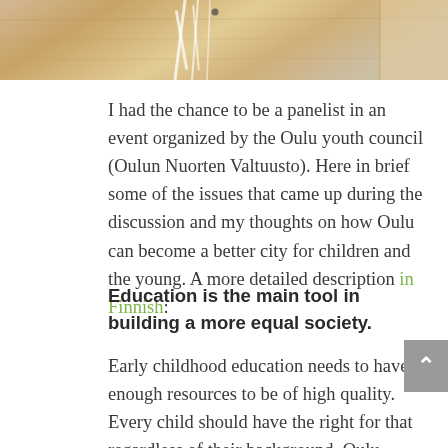[Figure (photo): Wooden table or desk surface with white objects (possibly branches or straws) on top, photographed from above, warm wood tones]
I had the chance to be a panelist in an event organized by the Oulu youth council (Oulun Nuorten Valtuusto). Here in brief some of the issues that came up during the discussion and my thoughts on how Oulu can become a better city for children and the young. A more detailed description in Finnish:
Education is the main tool in building a more equal society.
Early childhood education needs to have enough resources to be of high quality. Every child should have the right for that regardless of their background. Oulu could gradually move towards free early childhood education. This is also a means